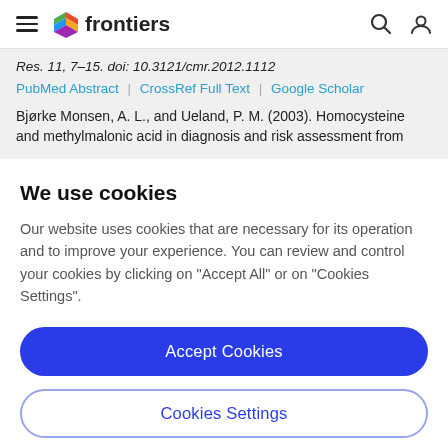frontiers (navigation bar with hamburger menu, search, and user icons)
Res. 11, 7–15. doi: 10.3121/cmr.2012.1112
PubMed Abstract | CrossRef Full Text | Google Scholar
Bjørke Monsen, A. L., and Ueland, P. M. (2003). Homocysteine and methylmalonic acid in diagnosis and risk assessment from
We use cookies
Our website uses cookies that are necessary for its operation and to improve your experience. You can review and control your cookies by clicking on "Accept All" or on "Cookies Settings".
Accept Cookies
Cookies Settings